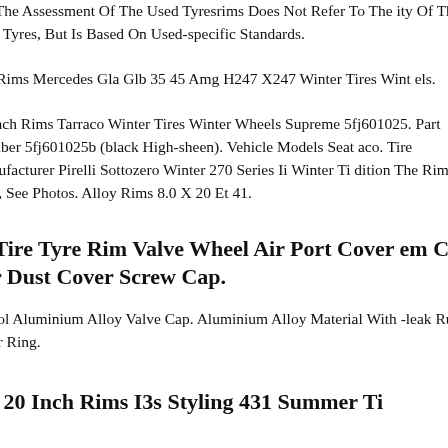els. The Assessment Of The Used Tyresrims Does Not Refer To The ity Of The New Tyres, But Is Based On Used-specific Standards.
nch Rims Mercedes Gla Glb 35 45 Amg H247 X247 Winter Tires Wint els.
20 Inch Rims Tarraco Winter Tires Winter Wheels Supreme 5fj601025. Part Number 5fj601025b (black High-sheen). Vehicle Models Seat aco. Tire Manufacturer Pirelli Sottozero Winter 270 Series Ii Winter Ti dition The Rims Are New, See Photos. Alloy Rims 8.0 X 20 Et 41.
to Tire Tyre Rim Valve Wheel Air Port Cover em Cap Air Dust Cover Screw Cap.
r Cool Aluminium Alloy Valve Cap. Aluminium Alloy Material With leak Rubber Inner Ring.
nw 20 Inch Rims I3s Styling 431 Summer Ti